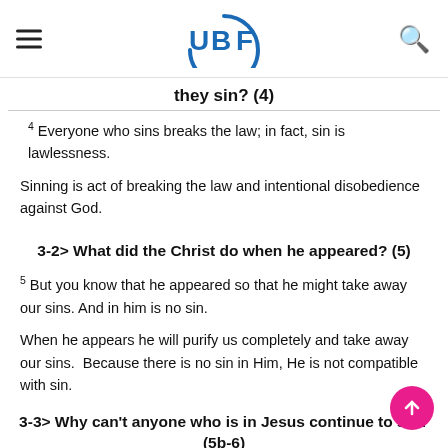UBF logo header with hamburger menu and search icon
they sin? (4)
4 Everyone who sins breaks the law; in fact, sin is lawlessness.
Sinning is act of breaking the law and intentional disobedience against God.
3-2> What did the Christ do when he appeared? (5)
5 But you know that he appeared so that he might take away our sins. And in him is no sin.
When he appears he will purify us completely and take away our sins.  Because there is no sin in Him, He is not compatible with sin.
3-3> Why can't anyone who is in Jesus continue to sin? (5b-6)
And in him is no sin. 6 No one who lives in him keeps on sinning. No one who continues to sin has...